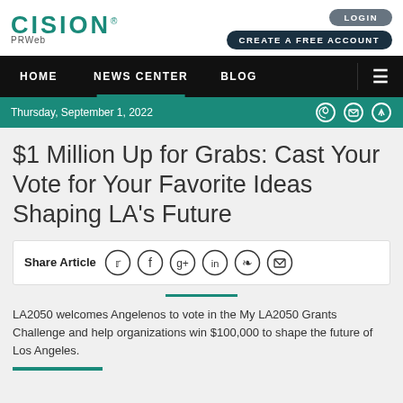[Figure (logo): Cision PRWeb logo in teal/dark green]
LOGIN
CREATE A FREE ACCOUNT
HOME  NEWS CENTER  BLOG
Thursday, September 1, 2022
$1 Million Up for Grabs: Cast Your Vote for Your Favorite Ideas Shaping LA's Future
Share Article
LA2050 welcomes Angelenos to vote in the My LA2050 Grants Challenge and help organizations win $100,000 to shape the future of Los Angeles.